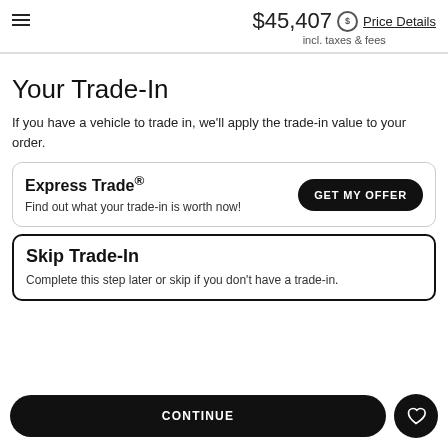$45,407 incl. taxes & fees Price Details
Your Trade-In
If you have a vehicle to trade in, we'll apply the trade-in value to your order.
Express Trade®
Find out what your trade-in is worth now!
Skip Trade-In
Complete this step later or skip if you don't have a trade-in.
CONTINUE